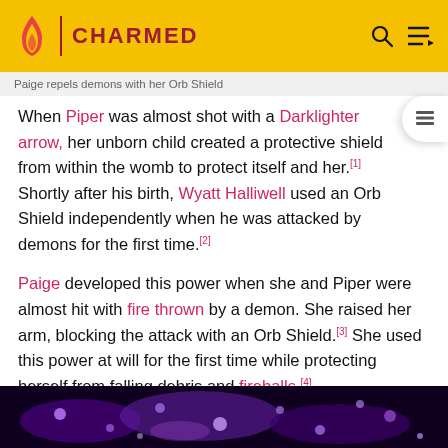CHARMED
Paige repels demons with her Orb Shield
When Piper was almost shot with a Darklighter arrow, her unborn child created a protective shield from within the womb to protect itself and her.[1] Shortly after his birth, Wyatt Halliwell used an Orb Shield independently when he was attacked by demons for the first time.[2]
Paige developed this power when she and Piper were almost hit with fire thrown by a demon. She raised her arm, blocking the attack with an Orb Shield.[3] She used this power at will for the first time while protecting herself from falling debris and fireballs.[4]
[Figure (photo): Dark scene with purple magical orbs/energy effects, likely from the TV show Charmed]